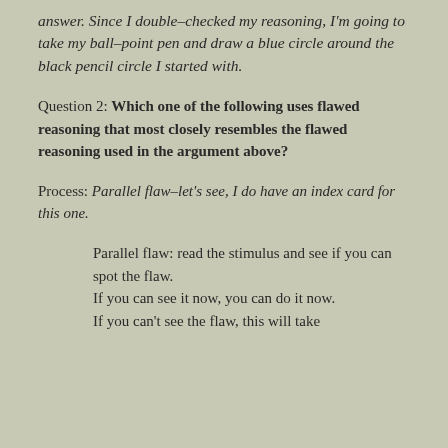answer. Since I double-checked my reasoning, I'm going to take my ball-point pen and draw a blue circle around the black pencil circle I started with.
Question 2: Which one of the following uses flawed reasoning that most closely resembles the flawed reasoning used in the argument above?
Process: Parallel flaw–let's see, I do have an index card for this one.
Parallel flaw: read the stimulus and see if you can spot the flaw. If you can see it now, you can do it now. If you can't see the flaw, this will take